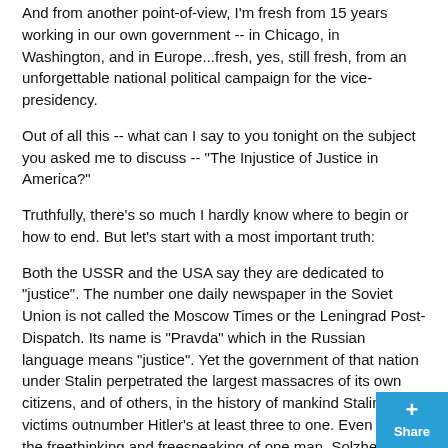And from another point-of-view, I'm fresh from 15 years working in our own government -- in Chicago, in Washington, and in Europe...fresh, yes, still fresh, from an unforgettable national political campaign for the vice-presidency.
Out of all this -- what can I say to you tonight on the subject you asked me to discuss -- "The Injustice of Justice in America?"
Truthfully, there's so much I hardly know where to begin or how to end. But let's start with a most important truth:
Both the USSR and the USA say they are dedicated to "justice". The number one daily newspaper in the Soviet Union is not called the Moscow Times or the Leningrad Post-Dispatch. Its name is "Pravda" which in the Russian language means "justice". Yet the government of that nation under Stalin perpetrated the largest massacres of its own citizens, and of others, in the history of mankind Stalin's victims outnumber Hitler's at least three to one. Even today the freethinking and freespeaking of one man, Solzhenitsyn, created a national crisis for the most powerful military power on earth. One Jewish ballet dancer, star of the Leningrad Kirov Ballet causes a "national security" issue for the Politburo itself.
By contrast our nation and our system of justice did manage, finally, to give fair trials to Bobby Seale and Angela Davis. Yes, we have political prisoners the slaughter of prisoners at the Attica State Penitentiary in New Yor exemplifies dramatically how far we are from achieving justice here